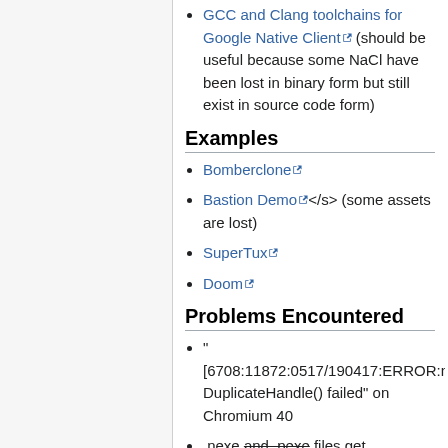GCC and Clang toolchains for Google Native Client (should be useful because some NaCl have been lost in binary form but still exist in source code form)
Examples
Bomberclone
Bastion Demo</s> (some assets are lost)
SuperTux
Doom
Problems Encountered
" [6708:11872:0517/190417:ERROR:nacl... DuplicateHandle() failed" on Chromium 40
.nexe and .pexe files get downloaded by the browser, but don't start.